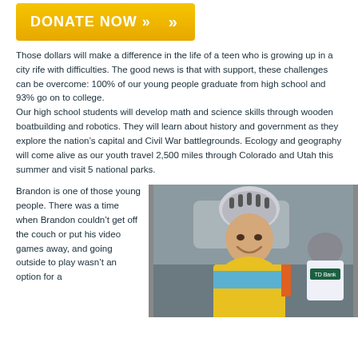[Figure (other): Orange/yellow donate now button with double chevron arrows]
Those dollars will make a difference in the life of a teen who is growing up in a city rife with difficulties. The good news is that with support, these challenges can be overcome: 100% of our young people graduate from high school and 93% go on to college.
Our high school students will develop math and science skills through wooden boatbuilding and robotics. They will learn about history and government as they explore the nation’s capital and Civil War battlegrounds. Ecology and geography will come alive as our youth travel 2,500 miles through Colorado and Utah this summer and visit 5 national parks.
Brandon is one of those young people. There was a time when Brandon couldn’t get off the couch or put his video games away, and going outside to play wasn’t an option for a
[Figure (photo): A smiling man wearing a cycling helmet and yellow/blue jersey, with another cyclist in a TD Bank jersey visible in the background]